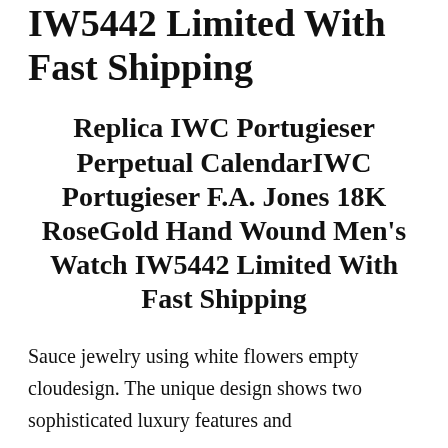IW5442 Limited With Fast Shipping
Replica IWC Portugieser Perpetual CalendarIWC Portugieser F.A. Jones 18K RoseGold Hand Wound Men’s Watch IW5442 Limited With Fast Shipping
Sauce jewelry using white flowers empty cloudesign. The unique design shows two sophisticated luxury features and